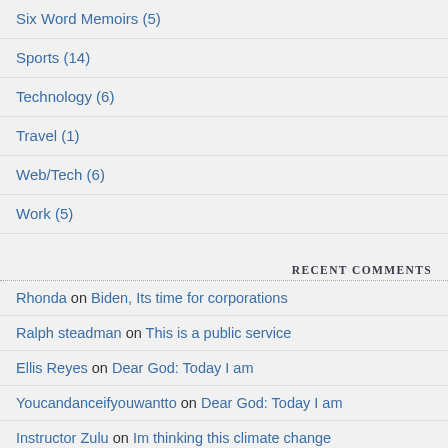Six Word Memoirs (5)
Sports (14)
Technology (6)
Travel (1)
Web/Tech (6)
Work (5)
RECENT COMMENTS
Rhonda on Biden, Its time for corporations
Ralph steadman on This is a public service
Ellis Reyes on Dear God: Today I am
Youcandanceifyouwantto on Dear God: Today I am
Instructor Zulu on Im thinking this climate change
Jess on Im thinking this climate change
Instructor Zulu on My question from 2017 still
Lorenzo Quebrado on My question from 2017 still